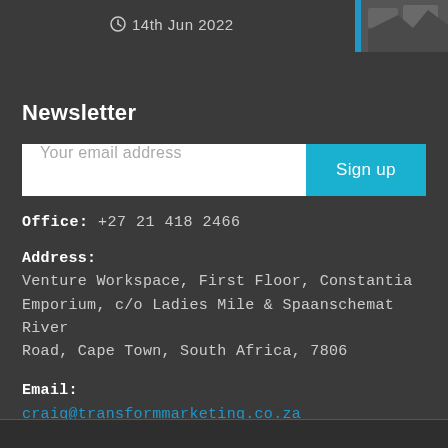14th Jun 2022
Newsletter
Your email address | Sign up
Office: +27 21 418 2466
Address:
Venture Workspace, First Floor, Constantia Emporium, c/o Ladies Mile & Spaanschemat River Road, Cape Town, South Africa, 7806
Email:
craig@transformmarketing.co.za